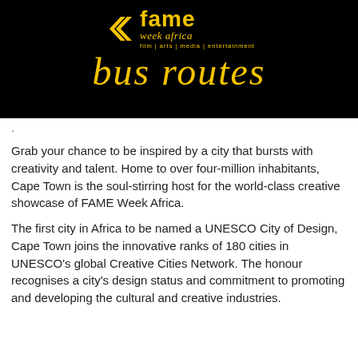[Figure (logo): FAME Week Africa logo with yellow chevron/arrow graphic on black background, with 'bus routes' in yellow italic script below. Tagline: film | arts | media | entertainment]
.
Grab your chance to be inspired by a city that bursts with creativity and talent. Home to over four-million inhabitants, Cape Town is the soul-stirring host for the world-class creative showcase of FAME Week Africa.
The first city in Africa to be named a UNESCO City of Design, Cape Town joins the innovative ranks of 180 cities in UNESCO’s global Creative Cities Network. The honour recognises a city’s design status and commitment to promoting and developing the cultural and creative industries.